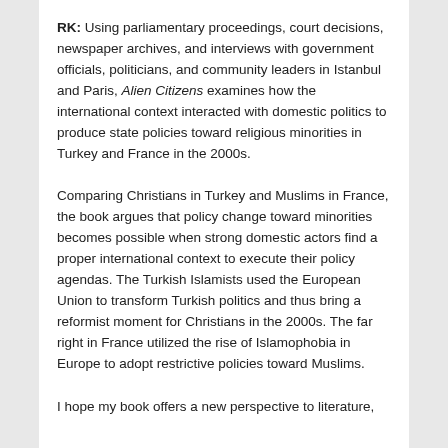RK: Using parliamentary proceedings, court decisions, newspaper archives, and interviews with government officials, politicians, and community leaders in Istanbul and Paris, Alien Citizens examines how the international context interacted with domestic politics to produce state policies toward religious minorities in Turkey and France in the 2000s.
Comparing Christians in Turkey and Muslims in France, the book argues that policy change toward minorities becomes possible when strong domestic actors find a proper international context to execute their policy agendas. The Turkish Islamists used the European Union to transform Turkish politics and thus bring a reformist moment for Christians in the 2000s. The far right in France utilized the rise of Islamophobia in Europe to adopt restrictive policies toward Muslims.
I hope my book offers a new perspective to literature,